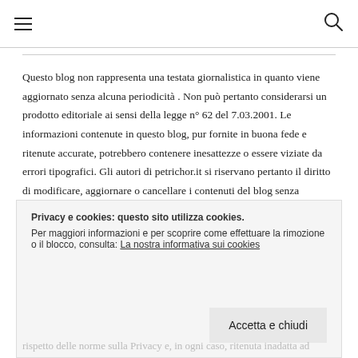☰ [hamburger menu] | [search icon]
Questo blog non rappresenta una testata giornalistica in quanto viene aggiornato senza alcuna periodicità . Non può pertanto considerarsi un prodotto editoriale ai sensi della legge n° 62 del 7.03.2001. Le informazioni contenute in questo blog, pur fornite in buona fede e ritenute accurate, potrebbero contenere inesattezze o essere viziate da errori tipografici. Gli autori di petrichor.it si riservano pertanto il diritto di modificare, aggiornare o cancellare i contenuti del blog senza
Privacy e cookies: questo sito utilizza cookies.
Per maggiori informazioni e per scoprire come effettuare la rimozione o il blocco, consulta: La nostra informativa sui cookies
[Accetta e chiudi]
rispetto delle norme sulla Privacy e, in ogni caso, ritenuta inadatta ad